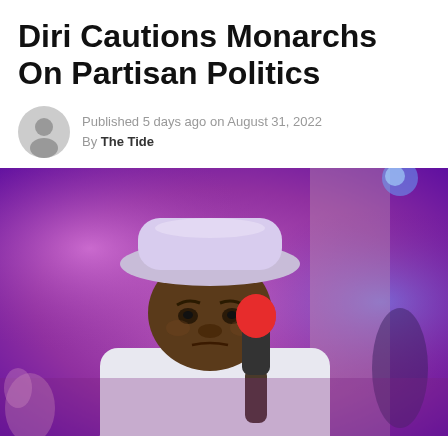Diri Cautions Monarchs On Partisan Politics
Published 5 days ago on August 31, 2022
By The Tide
[Figure (photo): A man wearing a white wide-brim hat and white traditional outfit holds a red microphone. The background shows purple and blue stage lighting.]